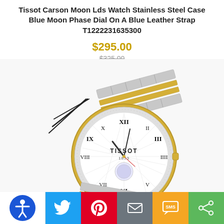Tissot Carson Moon Lds Watch Stainless Steel Case Blue Moon Phase Dial On A Blue Leather Strap T1222231635300
$295.00
$325.00
[Figure (photo): Tissot Carson watch with two-tone stainless steel and gold bracelet, white dial with Roman numerals and TISSOT 1853 branding, shown with black hang tag]
[Figure (infographic): Bottom toolbar with accessibility icon (blue circle with white person/wheelchair), Twitter bird icon (light blue), Pinterest P icon (red), email envelope icon (grey), SMS icon (yellow/gold), and share icon (green)]